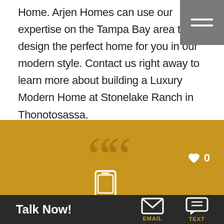Home. Arjen Homes can use our expertise on the Tampa Bay area to design the perfect home for you in our modern style. Contact us right away to learn more about building a Luxury Modern Home at Stonelake Ranch in Thonotosassa.
[Figure (infographic): Gold section with large decorative opening quote marks, a heart icon with count 0 in top right, and a phone/call icon in the center-bottom area]
Talk Now! | CALL | EMAIL | TEXT